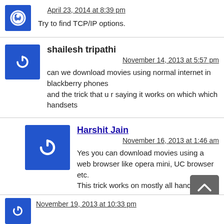April 23, 2014 at 8:39 pm
Try to find TCP/IP options.
shailesh tripathi
November 14, 2013 at 5:57 pm
can we download movies using normal internet in blackberry phones
and the trick that u r saying it works on which which handsets
Harshit Jain
November 16, 2013 at 1:46 am
Yes you can download movies using a web browser like opera mini, UC browser etc.
This trick works on mostly all handsets..
November 19, 2013 at 10:33 pm